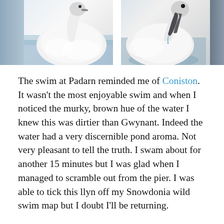[Figure (photo): Two close-up photographs of swans on water side by side. Left photo shows a fluffy white swan body and head with grey beak. Right photo shows another swan with dark grey beak dipping toward the water.]
The swim at Padarn reminded me of Coniston. It wasn't the most enjoyable swim and when I noticed the murky, brown hue of the water I knew this was dirtier than Gwynant. Indeed the water had a very discernible pond aroma. Not very pleasant to tell the truth. I swam about for another 15 minutes but I was glad when I managed to scramble out from the pier. I was able to tick this llyn off my Snowdonia wild swim map but I doubt I'll be returning.
It may have seemed that the day ended on a down but in reality I was buoyant with being back in the water after